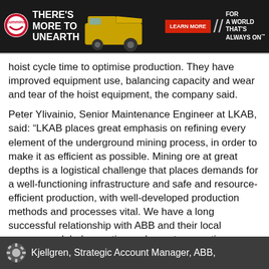[Figure (other): Cummins advertisement banner: dark background with Cummins logo, text 'THERE'S MORE TO UNEARTH', large mining truck image, red 'LEARN MORE' button, and tagline 'FOR A WORLD THAT'S ALWAYS ON']
hoist cycle time to optimise production. They have improved equipment use, balancing capacity and wear and tear of the hoist equipment, the company said.
Peter Ylivainio, Senior Maintenance Engineer at LKAB, said: “LKAB places great emphasis on refining every element of the underground mining process, in order to make it as efficient as possible. Mining ore at great depths is a logistical challenge that places demands for a well-functioning infrastructure and safe and resource-efficient production, with well-developed production methods and processes vital. We have a long successful relationship with ABB and their local presence, global expertise and remote operations technology support our goals.”
Kjellgren, Strategic Account Manager, ABB,